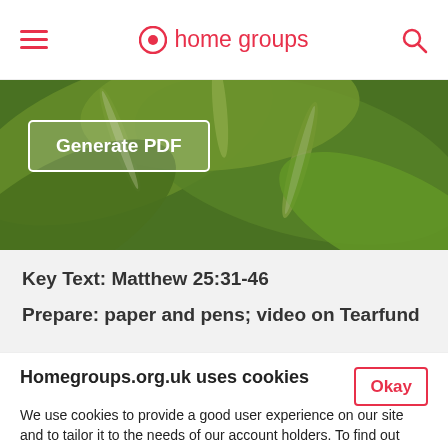home groups
[Figure (photo): Close-up photo of green hosta leaves with white striped edges, used as hero banner background]
Generate PDF
Key Text: Matthew 25:31-46
Prepare: paper and pens; video on Tearfund
Homegroups.org.uk uses cookies
We use cookies to provide a good user experience on our site and to tailor it to the needs of our account holders. To find out more about cookies visit our full cookie policy